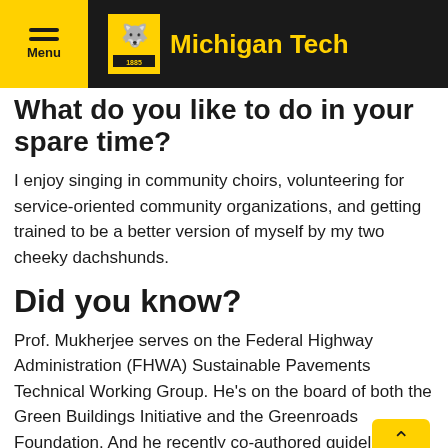Michigan Tech
What do you like to do in your spare time?
I enjoy singing in community choirs, volunteering for service-oriented community organizations, and getting trained to be a better version of myself by my two cheeky dachshunds.
Did you know?
Prof. Mukherjee serves on the Federal Highway Administration (FHWA) Sustainable Pavements Technical Working Group. He’s on the board of both the Green Buildings Initiative and the Greenroads Foundation. And he recently co-authored guidelines for sustainable highway construction practices for